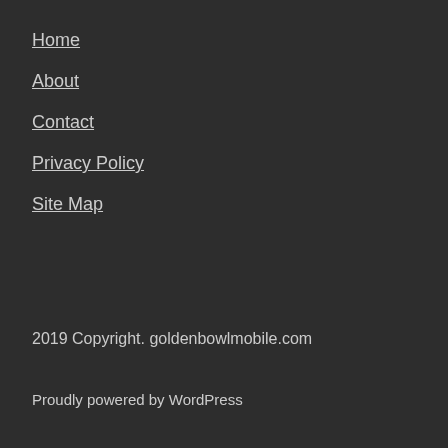Home
About
Contact
Privacy Policy
Site Map
2019 Copyright. goldenbowlmobile.com
Proudly powered by WordPress